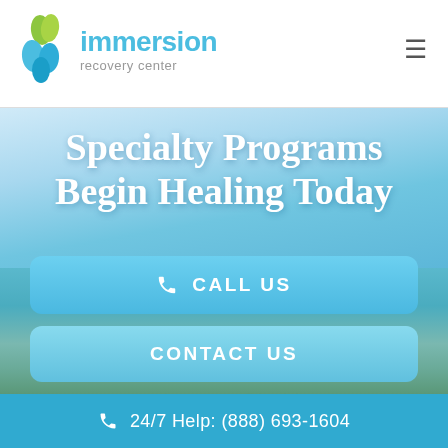[Figure (logo): Immersion Recovery Center logo with blue and green leaf/droplet icon]
Specialty Programs Begin Healing Today
CALL US
CONTACT US
Private & Confidential
24/7 Help: (888) 693-1604